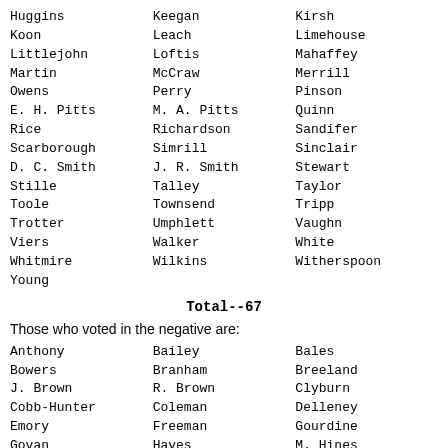Huggins, Keegan, Kirsh
Koon, Leach, Limehouse
Littlejohn, Loftis, Mahaffey
Martin, McCraw, Merrill
Owens, Perry, Pinson
E. H. Pitts, M. A. Pitts, Quinn
Rice, Richardson, Sandifer
Scarborough, Simrill, Sinclair
D. C. Smith, J. R. Smith, Stewart
Stille, Talley, Taylor
Toole, Townsend, Tripp
Trotter, Umphlett, Vaughn
Viers, Walker, White
Whitmire, Wilkins, Witherspoon
Young
Total--67
Those who voted in the negative are:
Anthony, Bailey, Bales
Bowers, Branham, Breeland
J. Brown, R. Brown, Clyburn
Cobb-Hunter, Coleman, Delleney
Emory, Freeman, Gourdine
Govan, Hayes, M. Hines
Hosey, Howard, Jennings
Kennedy, Lee, Lloyd
Lourie, Lucas, Mack
McGee, McLeod, Miller